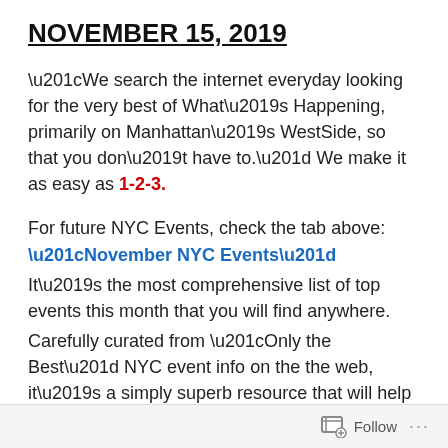NOVEMBER 15, 2019
“We search the internet everyday looking for the very best of What’s Happening, primarily on Manhattan’s WestSide, so that you don’t have to.” We make it as easy as 1-2-3.
For future NYC Events, check the tab above: “November NYC Events”
It’s the most comprehensive list of top events this month that you will find anywhere.
Carefully curated from “Only the Best” NYC event info on the the web, it’s a simply superb resource that will help you plan your NYC visit all over town, all through the month.
OR to make your own after dinner plans TONIGHT, see
Follow ...